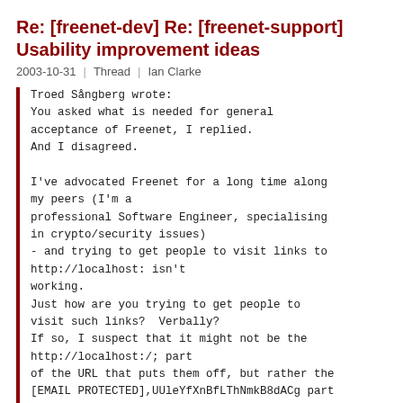Re: [freenet-dev] Re: [freenet-support] Usability improvement ideas
2003-10-31  Thread  Ian Clarke
Troed Sångberg wrote:
You asked what is needed for general acceptance of Freenet, I replied.
And I disagreed.

I've advocated Freenet for a long time along my peers (I'm a professional Software Engineer, specialising in crypto/security issues)
- and trying to get people to visit links to http://localhost: isn't working.
Just how are you trying to get people to visit such links?  Verbally?
If so, I suspect that it might not be the http://localhost:/; part of the URL that puts them off, but rather the [EMAIL PROTECTED],UUleYfXnBfLThNmkB8dACg part might